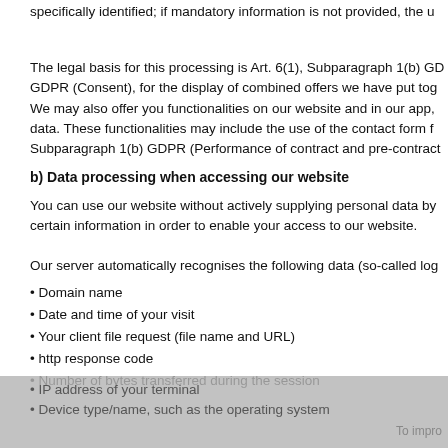Where the use of functionalities requires you to provide more personal data specifically identified; if mandatory information is not provided, the u
The legal basis for this processing is Art. 6(1), Subparagraph 1(b) GDPR GDPR (Consent), for the display of combined offers we have put tog We may also offer you functionalities on our website and in our app, data. These functionalities may include the use of the contact form f Subparagraph 1(b) GDPR (Performance of contract and pre-contract
b) Data processing when accessing our website
You can use our website without actively supplying personal data by certain information in order to enable your access to our website.
Our server automatically recognises the following data (so-called log
Domain name
Date and time of your visit
Your client file request (file name and URL)
http response code
Number of bytes transferred during the session
IP address of your terminal
Device type/name, such as the operating system